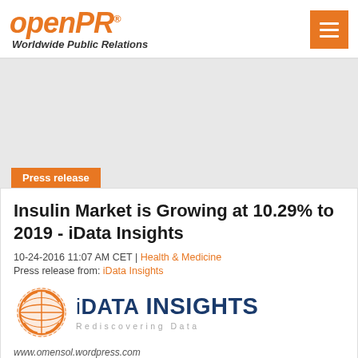openPR® Worldwide Public Relations
[Figure (logo): iData Insights logo with globe icon, orange and navy blue colors, tagline Rediscovering Data]
Insulin Market is Growing at 10.29% to 2019 - iData Insights
10-24-2016 11:07 AM CET | Health & Medicine
Press release from: iData Insights
www.omensol.wordpress.com